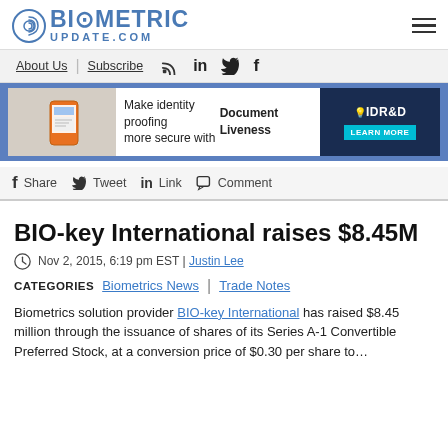BIOMETRIC UPDATE.COM
[Figure (logo): Biometric Update.com logo with fingerprint icon]
About Us | Subscribe
[Figure (infographic): Make identity proofing more secure with Document Liveness - IDR&D ad banner with LEARN MORE button]
Share  Tweet  Link  Comment
BIO-key International raises $8.45M
Nov 2, 2015, 6:19 pm EST | Justin Lee
CATEGORIES  Biometrics News | Trade Notes
Biometrics solution provider BIO-key International has raised $8.45 million through the issuance of shares of its Series A-1 Convertible Preferred Stock, at a conversion price of $0.30 per share to...